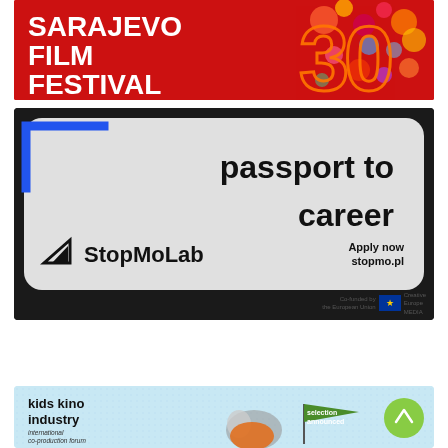[Figure (illustration): Sarajevo Film Festival banner with red background, white bold text reading SARAJEVO FILM FESTIVAL, and large decorative floral number 30 in orange/red on the right]
[Figure (illustration): StopMoLab advertisement with black border, light grey rounded rectangle containing text 'passport to career', StopMoLab logo with triangle icon, and 'Apply now stopmo.pl' text. EU Creative Europe co-funding logo at bottom right.]
[Figure (illustration): Kids Kino Industry international co-production forum banner with light blue background, raccoon illustration in orange shirt, green flag with 'selection announced' text, and scroll-up button]